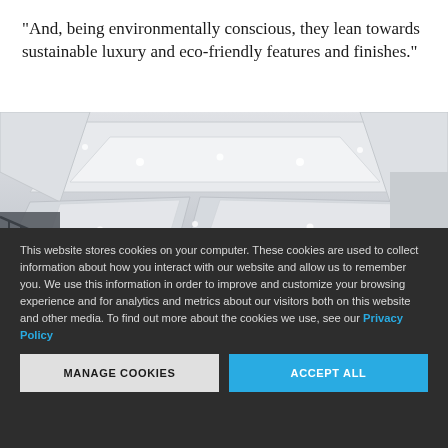“And, being environmentally conscious, they lean towards sustainable luxury and eco-friendly features and finishes.”
[Figure (photo): Interior architectural photo showing a modern luxury space with geometric coffered ceiling panels, recessed lighting, and a dark metal staircase railing visible on the left side.]
This website stores cookies on your computer. These cookies are used to collect information about how you interact with our website and allow us to remember you. We use this information in order to improve and customize your browsing experience and for analytics and metrics about our visitors both on this website and other media. To find out more about the cookies we use, see our Privacy Policy